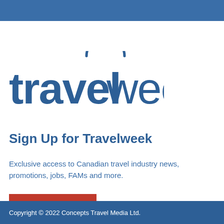[Figure (logo): Travelweek logo with arch over the 'l' letter — bold blue text reading 'travelweek']
Sign Up for Travelweek
Exclusive access to Canadian travel industry news, promotions, jobs, FAMs and more.
Subscribe Now
Copyright © 2022 Concepts Travel Media Ltd.